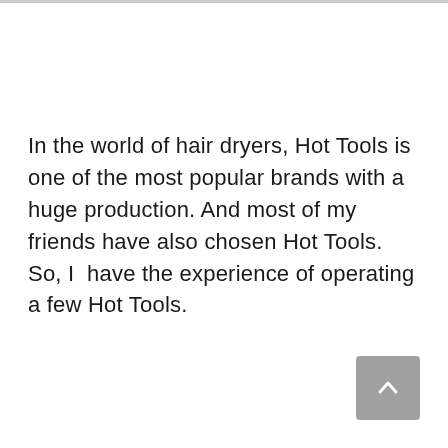In the world of hair dryers, Hot Tools is one of the most popular brands with a huge production. And most of my friends have also chosen Hot Tools. So, I have the experience of operating a few Hot Tools.